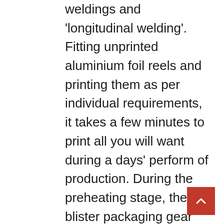weldings and 'longitudinal welding'. Fitting unprinted aluminium foil reels and printing them as per individual requirements, it takes a few minutes to print all you will want during a days' perform of production. During the preheating stage, the blister packaging gear heats the kind film till it becomes pliable (straightforward to form). Blister packaging machines are electromechanical equipment, consisting of stationary and moving components which support to seal products in preformed cavities. To extend it, ULMA offers you the widest range of packaging solutions on the market place for the fruit and vegetable sector assisting you in your search for the optimal packaging for your item. The rolling drum rotation is synchronized with web index of the machine,